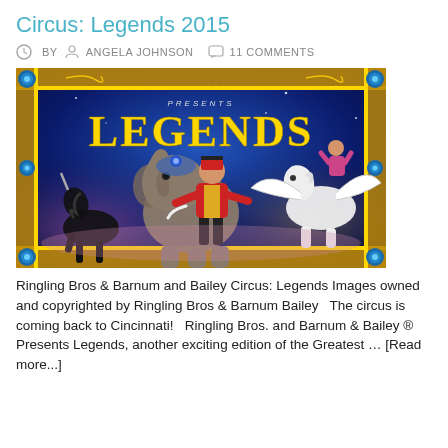Circus: Legends 2015
BY ANGELA JOHNSON   11 COMMENTS
[Figure (photo): Ringling Bros & Barnum and Bailey Circus: Legends promotional image showing a ringmaster in red jacket, a large elephant, a black unicorn, and a white winged Pegasus against a dark blue starry background with ornate gold frame and the word LEGENDS in large gold text.]
Ringling Bros & Barnum and Bailey Circus: Legends Images owned and copyrighted by Ringling Bros & Barnum Bailey   The circus is coming back to Cincinnati!   Ringling Bros. and Barnum & Bailey ® Presents Legends, another exciting edition of the Greatest … [Read more...]